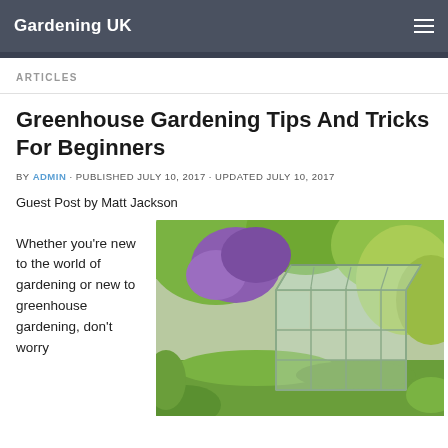Gardening UK
ARTICLES
Greenhouse Gardening Tips And Tricks For Beginners
BY ADMIN · PUBLISHED JULY 10, 2017 · UPDATED JULY 10, 2017
Guest Post by Matt Jackson
Whether you're new to the world of gardening or new to greenhouse gardening, don't worry
[Figure (photo): A glass greenhouse structure in a lush green garden with purple flowering shrubs and trees in the background]